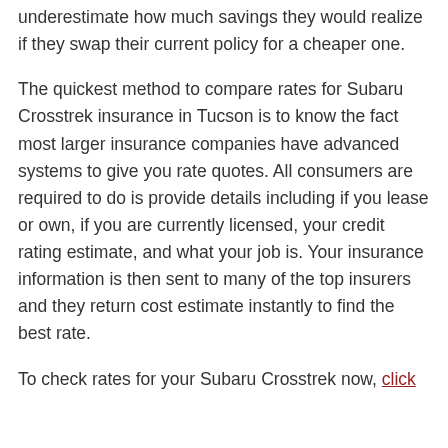underestimate how much savings they would realize if they swap their current policy for a cheaper one.
The quickest method to compare rates for Subaru Crosstrek insurance in Tucson is to know the fact most larger insurance companies have advanced systems to give you rate quotes. All consumers are required to do is provide details including if you lease or own, if you are currently licensed, your credit rating estimate, and what your job is. Your insurance information is then sent to many of the top insurers and they return cost estimate instantly to find the best rate.
To check rates for your Subaru Crosstrek now, click